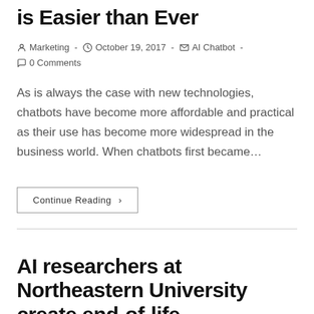is Easier than Ever
Marketing · October 19, 2017 · AI Chatbot · 0 Comments
As is always the case with new technologies, chatbots have become more affordable and practical as their use has become more widespread in the business world. When chatbots first became…
Continue Reading ›
AI researchers at Northeastern University create end-of-life